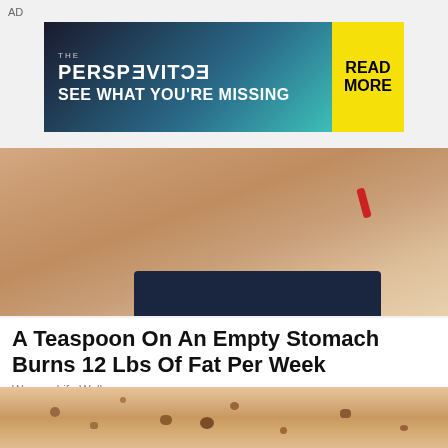AD
[Figure (advertisement): The Perspective ad banner with teal/dark background. Text: THE PERSP-ECTIVE (with mirrored letters). SEE WHAT YOU'RE MISSING. READ MORE button on yellow background.]
[Figure (photo): Photo of a person's midsection/belly area with a dark waistband visible, skin-toned background.]
A Teaspoon On An Empty Stomach Burns 12 Lbs Of Fat Per Week
Women Life Wellness
[Figure (photo): Close-up photo of a human arm/skin showing skin tags and age spots (brown raised bumps on skin-colored background).]